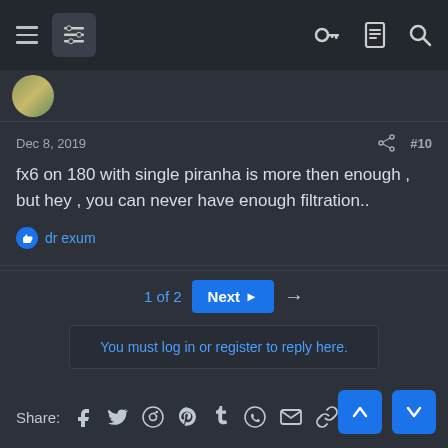Navigation bar with menu, filter icon, key icon, document icon, search icon
Dec 8, 2019   #10
fx6 on 180 with single piranha is more then enough , but hey , you can never have enough filtration..
dr exum
1 of 2  Next  →
You must log in or register to reply here.
Share:  Facebook  Twitter  Reddit  Pinterest  Tumblr  WhatsApp  Email  Link